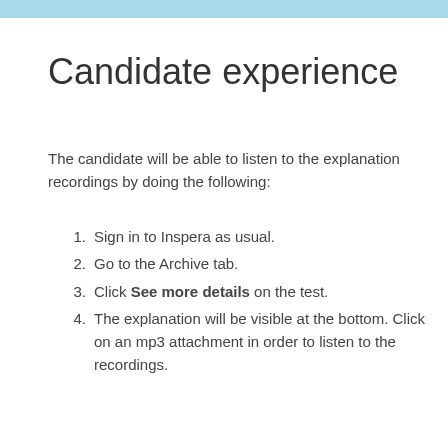Candidate experience
The candidate will be able to listen to the explanation recordings by doing the following:
Sign in to Inspera as usual.
Go to the Archive tab.
Click See more details on the test.
The explanation will be visible at the bottom. Click on an mp3 attachment in order to listen to the recordings.